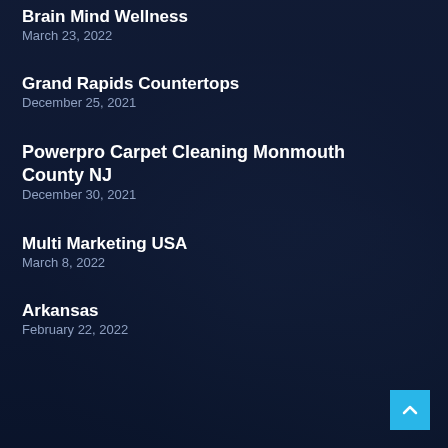Brain Mind Wellness
March 23, 2022
Grand Rapids Countertops
December 25, 2021
Powerpro Carpet Cleaning Monmouth County NJ
December 30, 2021
Multi Marketing USA
March 8, 2022
Arkansas
February 22, 2022